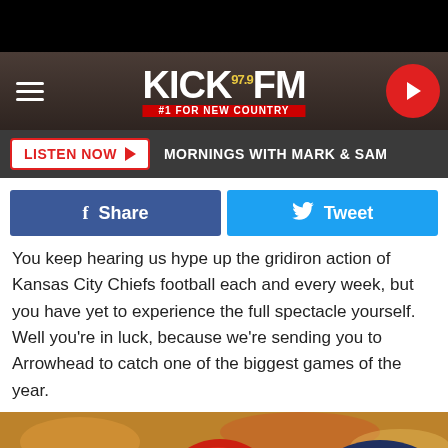[Figure (screenshot): KICK 97.9 FM radio station website header with hamburger menu, logo, and play button]
LISTEN NOW ▶  MORNINGS WITH MARK & SAM
[Figure (other): Facebook Share and Twitter Tweet buttons]
You keep hearing us hype up the gridiron action of Kansas City Chiefs football each and every week, but you have yet to experience the full spectacle yourself. Well you're in luck, because we're sending you to Arrowhead to catch one of the biggest games of the year.
[Figure (photo): Football players from Kansas City Chiefs (red helmets) and Denver Broncos (orange/blue helmets) in close contact during a game]